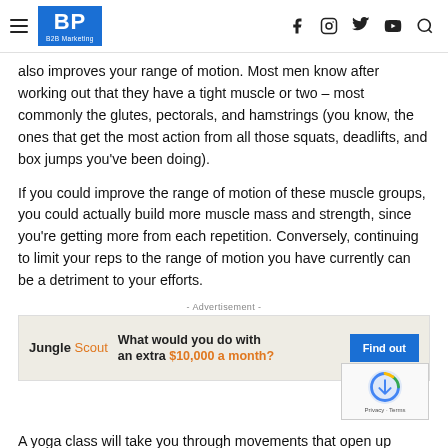BP B2B Marketing
also improves your range of motion. Most men know after working out that they have a tight muscle or two – most commonly the glutes, pectorals, and hamstrings (you know, the ones that get the most action from all those squats, deadlifts, and box jumps you've been doing).
If you could improve the range of motion of these muscle groups, you could actually build more muscle mass and strength, since you're getting more from each repetition. Conversely, continuing to limit your reps to the range of motion you have currently can be a detriment to your efforts.
- Advertisement -
[Figure (other): Jungle Scout advertisement: 'What would you do with an extra $10,000 a month?' with a Find out button]
A yoga class will take you through movements that open up